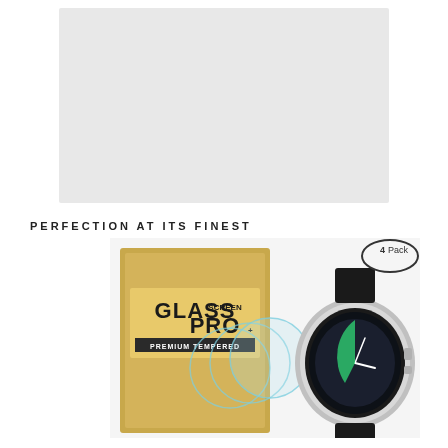[Figure (photo): Light gray rectangular placeholder image area at the top of the page]
PERFECTION AT ITS FINEST
[Figure (photo): Product image showing a Glass Screen Pro Premium Tempered Glass screen protector package (kraft brown box) alongside a Samsung Galaxy Watch 3 smartwatch with black leather strap, and 4 circular screen protector films. A '4 Pack' badge/label is shown in the top right of the product image.]